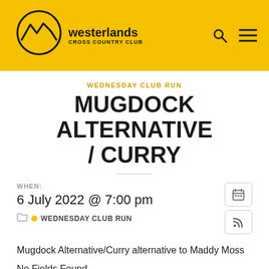[Figure (logo): Westerlands Cross Country Club logo: mountain outline in circle with text 'westerlands CROSS COUNTRY CLUB' on yellow background header]
WEDNESDAY CLUB RUN
MUGDOCK ALTERNATIVE / CURRY
WHEN:
6 July 2022 @ 7:00 pm
WEDNESDAY CLUB RUN
Mugdock Alternative/Curry alternative to Maddy Moss
No Fields Found